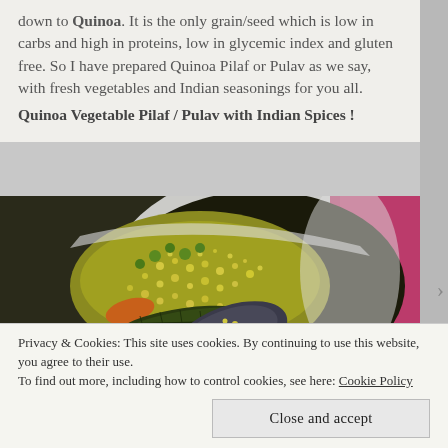down to Quinoa. It is the only grain/seed which is low in carbs and high in proteins, low in glycemic index and gluten free. So I have prepared Quinoa Pilaf or Pulav as we say, with fresh vegetables and Indian seasonings for you all.
Quinoa Vegetable Pilaf / Pulav with Indian Spices !
[Figure (photo): A bowl of Quinoa Vegetable Pilaf/Pulav with Indian spices, showing yellow quinoa grains mixed with vegetables including peas and carrots, with bay leaves and a spoon visible.]
Privacy & Cookies: This site uses cookies. By continuing to use this website, you agree to their use.
To find out more, including how to control cookies, see here: Cookie Policy